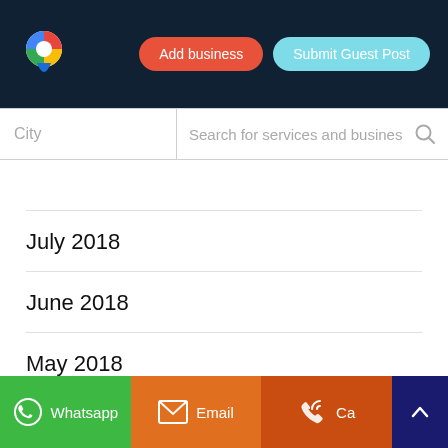[Figure (logo): Google Maps-style location pin logo with multicolor segments]
Add business
Submit Guest Post
City
Search for services and business
July 2018
June 2018
May 2018
April 2018
March 2018
Whatsapp   Email   Ca...